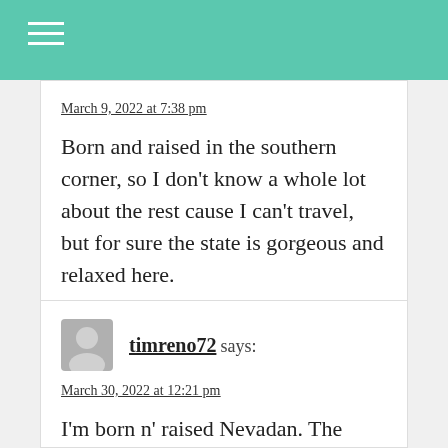March 9, 2022 at 7:38 pm
Born and raised in the southern corner, so I don't know a whole lot about the rest cause I can't travel, but for sure the state is gorgeous and relaxed here.
timreno72 says:
March 30, 2022 at 12:21 pm
I'm born n' raised Nevadan. The most times I've won on slots was at convenience stores and not in casinos. FYI you can milk